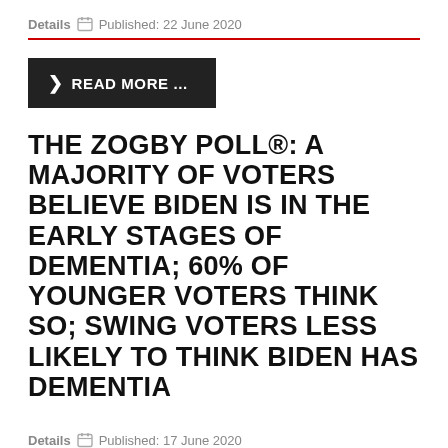Details  Published: 22 June 2020
READ MORE ...
THE ZOGBY POLL®: A MAJORITY OF VOTERS BELIEVE BIDEN IS IN THE EARLY STAGES OF DEMENTIA; 60% OF YOUNGER VOTERS THINK SO; SWING VOTERS LESS LIKELY TO THINK BIDEN HAS DEMENTIA
Details  Published: 17 June 2020
READ MORE ...